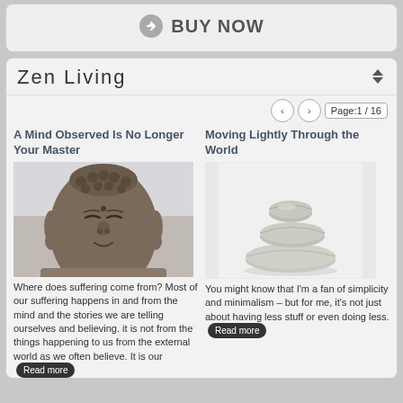[Figure (other): BUY NOW button with arrow icon in a rounded box]
Zen Living
Page:1 / 16
A Mind Observed Is No Longer Your Master
Moving Lightly Through the World
[Figure (photo): Close-up photograph of a bronze Buddha statue face]
[Figure (photo): Photo of stacked zen stones on white background]
Where does suffering come from? Most of our suffering happens in and from the mind and the stories we are telling ourselves and believing. it is not from the things happening to us from the external world as we often believe. It is our
You might know that I'm a fan of simplicity and minimalism – but for me, it's not just about having less stuff or even doing less.